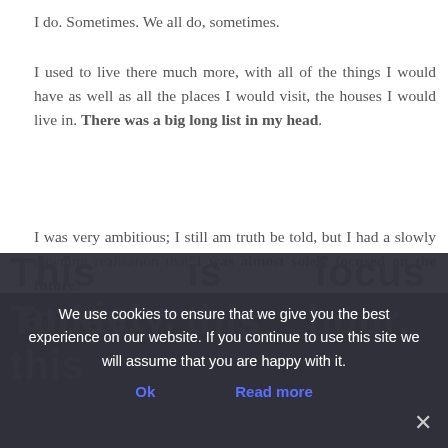I do. Sometimes. We all do, sometimes.
I used to live there much more, with all of the things I would have as well as all the places I would visit, the houses I would live in. There was a big long list in my head.
I was very ambitious; I still am truth be told, but I had a slowly dawning realisation that I was almost solely focused on the future.
What I would do there? What things would I have there?
The more plans I made and goals I set, I realised that my
This   is   focus   anxiety.
Today,   this   hour,   this
We use cookies to ensure that we give you the best experience on our website. If you continue to use this site we will assume that you are happy with it.
Ok
Read more